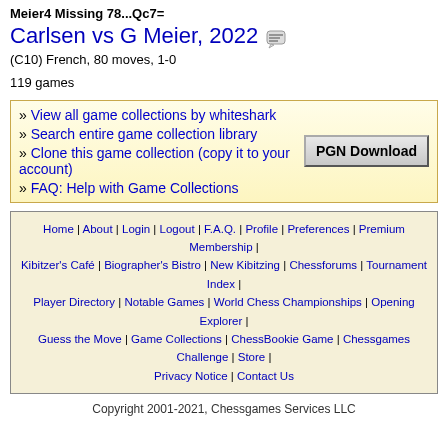Meier4 Missing 78...Qc7=
Carlsen vs G Meier, 2022
(C10) French, 80 moves, 1-0
119 games
» View all game collections by whiteshark
» Search entire game collection library
» Clone this game collection (copy it to your account)
» FAQ: Help with Game Collections
Home | About | Login | Logout | F.A.Q. | Profile | Preferences | Premium Membership | Kibitzer's Café | Biographer's Bistro | New Kibitzing | Chessforums | Tournament Index | Player Directory | Notable Games | World Chess Championships | Opening Explorer | Guess the Move | Game Collections | ChessBookie Game | Chessgames Challenge | Store | Privacy Notice | Contact Us
Copyright 2001-2021, Chessgames Services LLC